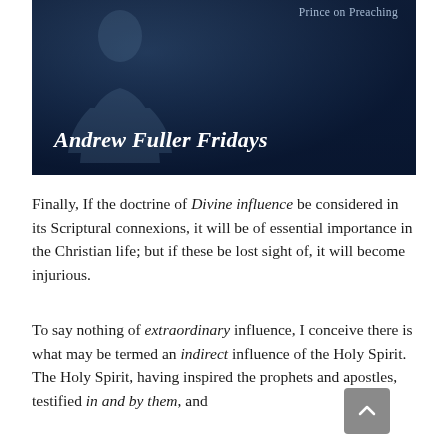[Figure (illustration): Dark navy blue header image with silhouette of a person (Andrew Fuller) and text 'Prince on Preaching' in top right and 'Andrew Fuller Fridays' in bold italic white text at bottom left]
Finally, If the doctrine of Divine influence be considered in its Scriptural connexions, it will be of essential importance in the Christian life; but if these be lost sight of, it will become injurious.
To say nothing of extraordinary influence, I conceive there is what may be termed an indirect influence of the Holy Spirit. The Holy Spirit, having inspired the prophets and apostles, testified in and by them, and